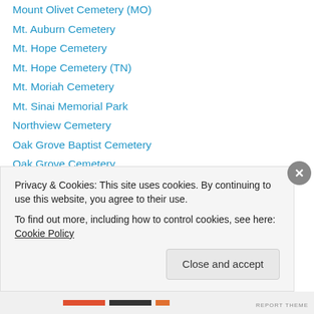Mount Olivet Cemetery (MO)
Mt. Auburn Cemetery
Mt. Hope Cemetery
Mt. Hope Cemetery (TN)
Mt. Moriah Cemetery
Mt. Sinai Memorial Park
Northview Cemetery
Oak Grove Baptist Cemetery
Oak Grove Cemetery
Oak Hill Cemetery
Oak Lawn Cemetery
Oak Ridge Cemetery
Old North Cemetery (NH)
Pontillion Memorial Park (partially visible)
Privacy & Cookies: This site uses cookies. By continuing to use this website, you agree to their use.
To find out more, including how to control cookies, see here: Cookie Policy
Close and accept